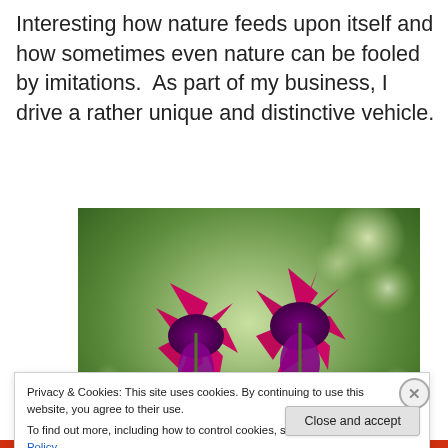Interesting how nature feeds upon itself and how sometimes even nature can be fooled by imitations.  As part of my business, I drive a rather unique and distinctive vehicle.
[Figure (photo): Close-up photo of two vibrant fuchsia/magenta fuchsia flowers with dark purple centers, against a blurred green leafy background with bokeh light spots.]
Privacy & Cookies: This site uses cookies. By continuing to use this website, you agree to their use.
To find out more, including how to control cookies, see here: Cookie Policy
Close and accept